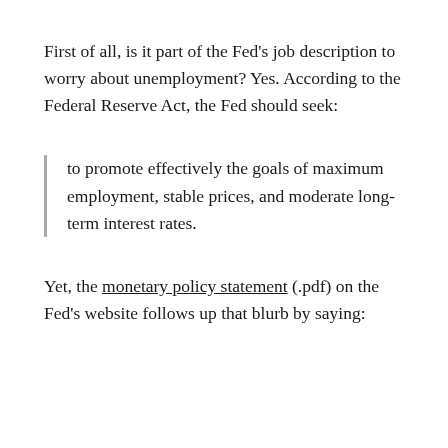First of all, is it part of the Fed's job description to worry about unemployment? Yes. According to the Federal Reserve Act, the Fed should seek:
to promote effectively the goals of maximum employment, stable prices, and moderate long-term interest rates.
Yet, the monetary policy statement (.pdf) on the Fed's website follows up that blurb by saying: